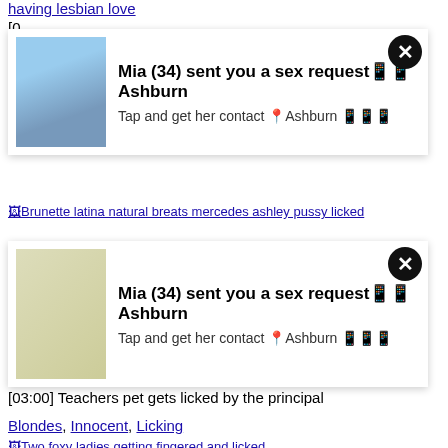having lesbian love
[0... an...
B...
[Figure (photo): Ad overlay with woman photo: Mia (34) sent you a sex request - Ashburn. Tap and get her contact. Ashburn.]
Brunette latina natural breats mercedes ashley pussy licked
[0... d
B...
[Figure (photo): Ad overlay with woman photo: Mia (34) sent you a sex request - Ashburn. Tap and get her contact. Ashburn.]
[03:00] Teachers pet gets licked by the principal
Blondes, Innocent, Licking
Two foxy ladies getting fingered and licked
[05:00] Two foxy ladies getting fingered and licked
Amateur, Babes, Blondes
Lads stroking trannies butts and giving a reach around
[08:11] Lads stroking trannies butts and giving a reach around
Ass, Butt, Licking